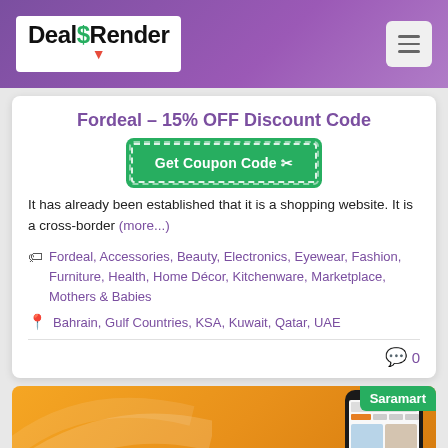DealsRender
Fordeal – 15% OFF Discount Code
Get Coupon Code
It has already been established that it is a shopping website. It is a cross-border (more...)
Fordeal, Accessories, Beauty, Electronics, Eyewear, Fashion, Furniture, Health, Home Décor, Kitchenware, Marketplace, Mothers & Babies
Bahrain, Gulf Countries, KSA, Kuwait, Qatar, UAE
0
[Figure (screenshot): Saramart promotional banner with phone showing shopping app. Text reads Shop Everything Various on orange background.]